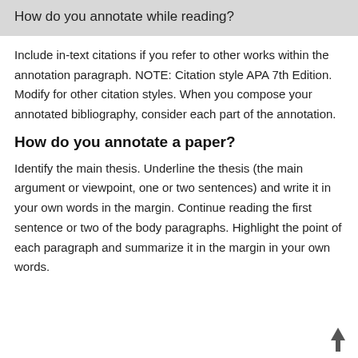How do you annotate while reading?
Include in-text citations if you refer to other works within the annotation paragraph. NOTE: Citation style APA 7th Edition. Modify for other citation styles. When you compose your annotated bibliography, consider each part of the annotation.
How do you annotate a paper?
Identify the main thesis. Underline the thesis (the main argument or viewpoint, one or two sentences) and write it in your own words in the margin. Continue reading the first sentence or two of the body paragraphs. Highlight the point of each paragraph and summarize it in the margin in your own words.